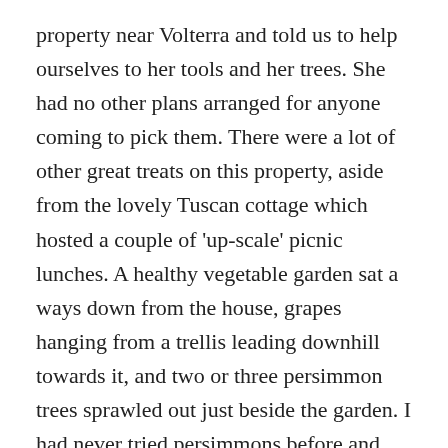property near Volterra and told us to help ourselves to her tools and her trees. She had no other plans arranged for anyone coming to pick them. There were a lot of other great treats on this property, aside from the lovely Tuscan cottage which hosted a couple of 'up-scale' picnic lunches. A healthy vegetable garden sat a ways down from the house, grapes hanging from a trellis leading downhill towards it, and two or three persimmon trees sprawled out just beside the garden. I had never tried persimmons before and now I am in love! They are incredible. And never better than fresh, organic, right off the branch. So juicy and sweet!
We have also been picking a bit further afield with Chris, who used to work in the garden here at Pignano, stripping a few of the trees on his mother's property. While we were picking there the other morning, Pushne